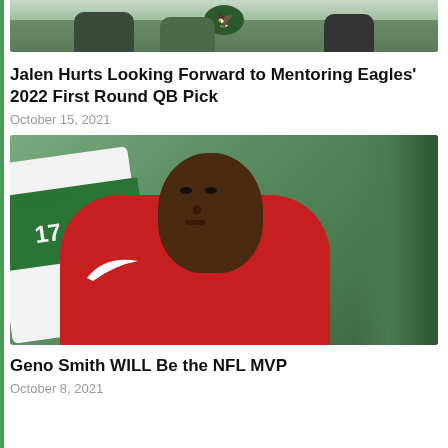[Figure (photo): Top cropped photo showing football players on a field, partial view]
Jalen Hurts Looking Forward to Mentoring Eagles' 2022 First Round QB Pick
October 15, 2021
[Figure (photo): Photo of Geno Smith in a red Nike jersey with HAWAII jersey visible in background, on a green field]
Geno Smith WILL Be the NFL MVP
October 8, 2021